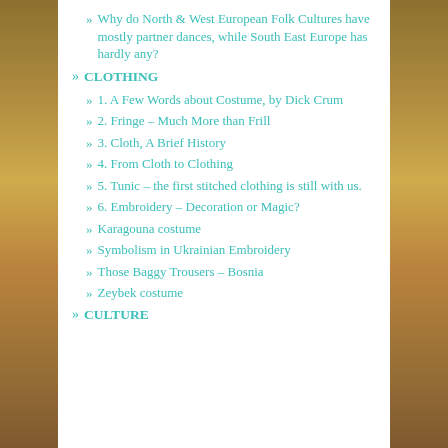» Why do North & West European Folk Cultures have mostly partner dances, while South East Europe has hardly any?
» CLOTHING
» 1. A Few Words about Costume, by Dick Crum
» 2. Fringe – Much More than Frill
» 3. Cloth, A Brief History
» 4. From Cloth to Clothing
» 5. Tunic – the first stitched clothing is still with us.
» 6. Embroidery – Decoration or Magic?
» Karagouna costume
» Symbolism in Ukrainian Embroidery
» Those Baggy Trousers – Bosnia
» Zeybek costume
» CULTURE